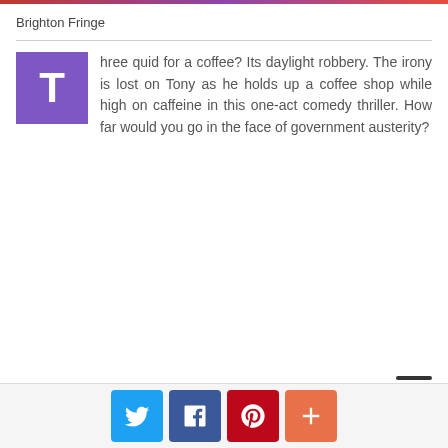[Figure (photo): Colorful banner image strip at top of page]
Brighton Fringe
Three quid for a coffee? Its daylight robbery. The irony is lost on Tony as he holds up a coffee shop while high on caffeine in this one-act comedy thriller. How far would you go in the face of government austerity?
[Figure (infographic): Social sharing buttons: Twitter, Facebook, Pinterest, and a plus/more button]